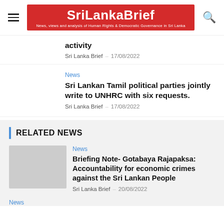SriLankaBrief — News, views and analysis of Human Rights & Democratic Governance in Sri Lanka
activity
Sri Lanka Brief  –  17/08/2022
News
Sri Lankan Tamil political parties jointly write to UNHRC with six requests.
Sri Lanka Brief  –  17/08/2022
RELATED NEWS
News
Briefing Note- Gotabaya Rajapaksa: Accountability for economic crimes against the Sri Lankan People
Sri Lanka Brief  –  20/08/2022
News